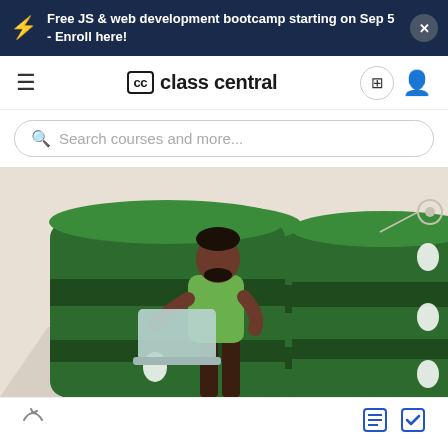Free JS & web development bootcamp starting on Sep 5 - Enroll here!
cc class central
Search courses and more...
[Figure (illustration): Illustration of a person in a green t-shirt holding a laptop, standing between two large green database server cylinders in a server room with beige/tan background.]
Bottom navigation bar with share, list, and checkmark icons